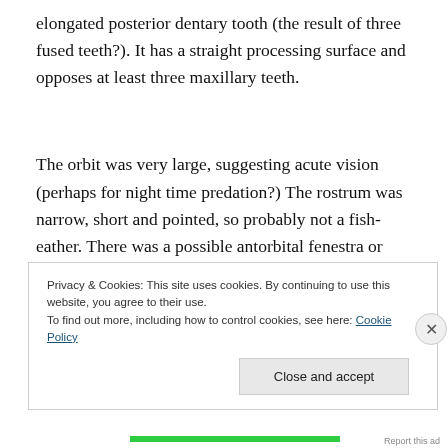elongated posterior dentary tooth (the result of three fused teeth?). It has a straight processing surface and opposes at least three maxillary teeth.
The orbit was very large, suggesting acute vision (perhaps for night time predation?) The rostrum was narrow, short and pointed, so probably not a fish-eather. There was a possible antorbital fenestra or two, as in its sister
Privacy & Cookies: This site uses cookies. By continuing to use this website, you agree to their use.
To find out more, including how to control cookies, see here: Cookie Policy